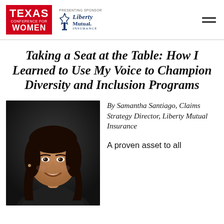Texas Conference for Women | Presenting Sponsor: Liberty Mutual Insurance
Taking a Seat at the Table: How I Learned to Use My Voice to Champion Diversity and Inclusion Programs
[Figure (photo): Professional headshot of Samantha Santiago, a woman with long dark hair, smiling, against a dark background]
By Samantha Santiago, Claims Strategy Director, Liberty Mutual Insurance
A proven asset to all